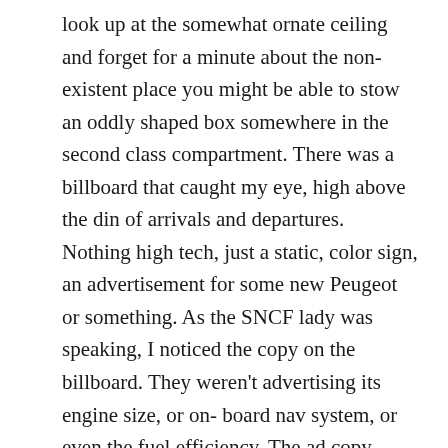look up at the somewhat ornate ceiling and forget for a minute about the non-existent place you might be able to stow an oddly shaped box somewhere in the second class compartment. There was a billboard that caught my eye, high above the din of arrivals and departures. Nothing high tech, just a static, color sign, an advertisement for some new Peugeot or something. As the SNCF lady was speaking, I noticed the copy on the billboard. They weren't advertising its engine size, or on-board nav system, or even the fuel efficiency. The ad copy, streaming outside a glamorous profile shot of the sedan gliding across a wide landscape, merely and with a sort of halting understatement noted the vehicle's amount of carbon emissions per kilometer. BAM. I was right back in the future.
There was a lot politics in discussions with my friend, his wife and their friends during the rest of my stay, most of it